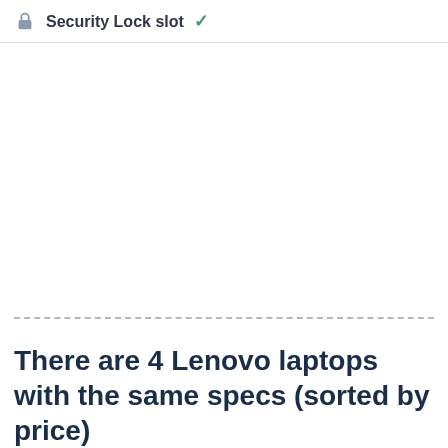Security Lock slot ✓
There are 4 Lenovo laptops with the same specs (sorted by price)